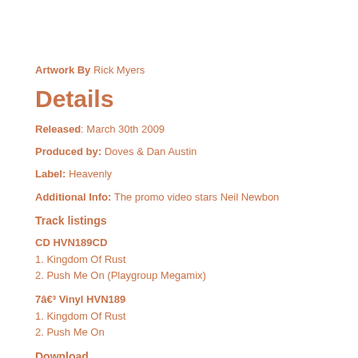Artwork By Rick Myers
Details
Released: March 30th 2009
Produced by: Doves & Dan Austin
Label: Heavenly
Additional Info: The promo video stars Neil Newbon
Track listings
CD HVN189CD
1. Kingdom Of Rust
2. Push Me On (Playgroup Megamix)
7â€³ Vinyl HVN189
1. Kingdom Of Rust
2. Push Me On
Download